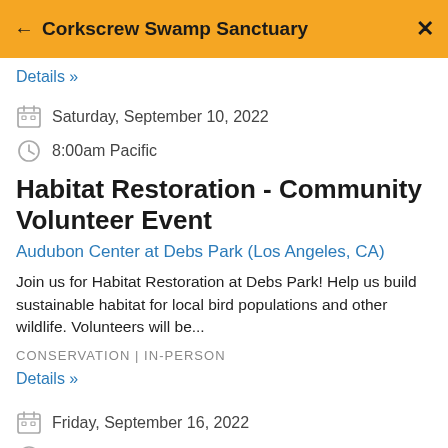← Corkscrew Swamp Sanctuary ×
Details »
Saturday, September 10, 2022
8:00am Pacific
Habitat Restoration - Community Volunteer Event
Audubon Center at Debs Park (Los Angeles, CA)
Join us for Habitat Restoration at Debs Park! Help us build sustainable habitat for local bird populations and other wildlife. Volunteers will be...
CONSERVATION | IN-PERSON
Details »
Friday, September 16, 2022
8:00am Pacific